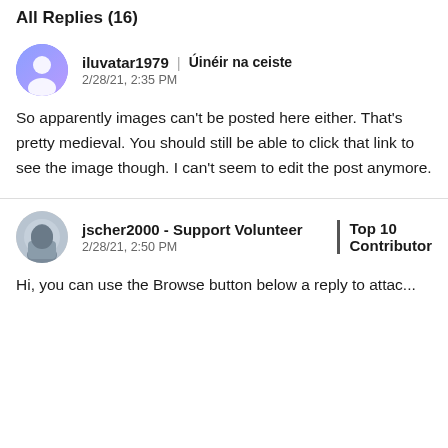All Replies (16)
iluvatar1979 | Úinéir na ceiste
2/28/21, 2:35 PM
So apparently images can't be posted here either. That's pretty medieval. You should still be able to click that link to see the image though. I can't seem to edit the post anymore.
jscher2000 - Support Volunteer | Top 10 Contributor
2/28/21, 2:50 PM
Hi, you can use the Browse button below a reply to attac...